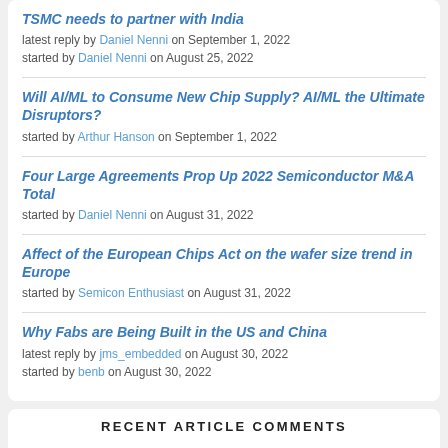TSMC needs to partner with India
latest reply by Daniel Nenni on September 1, 2022
started by Daniel Nenni on August 25, 2022
Will AI/ML to Consume New Chip Supply? AI/ML the Ultimate Disruptors?
started by Arthur Hanson on September 1, 2022
Four Large Agreements Prop Up 2022 Semiconductor M&A Total
started by Daniel Nenni on August 31, 2022
Affect of the European Chips Act on the wafer size trend in Europe
started by Semicon Enthusiast on August 31, 2022
Why Fabs are Being Built in the US and China
latest reply by jms_embedded on August 30, 2022
started by benb on August 30, 2022
RECENT ARTICLE COMMENTS
2022 Semiconductor Supercycle and 2023 Crash Scenario
From the discussion, Malcolm says -8% long-term growth in units; no impact from automobiles -ASP trend in the long run...
— benb on August 31, 2022